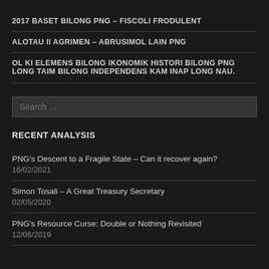2017 BASET BILONG PNG – FISCOLI FRODULENT
ALOTAU II AGRIMEN – ABRUSIMOL LAIN PNG
OL KI ELEMENS BILONG IKONOMIK HISTORI BILONG PNG LONG TAIM BILONG INDEPENDENS KAM INAP LONG NAU.
Search …
RECENT ANALYSIS
PNG's Descent to a Fragile State – Can it recover again?
16/02/2021
Simon Tosali – A Great Treasury Secretary
02/05/2020
PNG's Resource Curse: Double or Nothing Revisited
12/06/2019